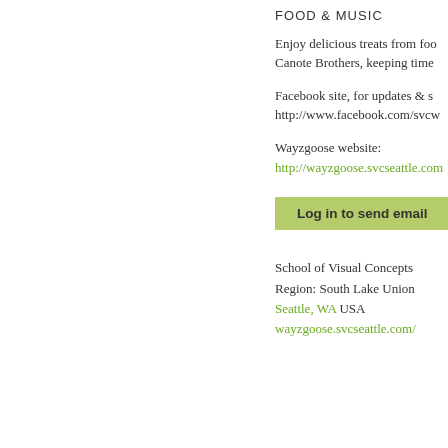FOOD & MUSIC
Enjoy delicious treats from foo... Canote Brothers, keeping time
Facebook site, for updates & s... http://www.facebook.com/svcw...
Wayzgoose website: http://wayzgoose.svcseattle.com
Log in to send email
School of Visual Concepts
Region: South Lake Union
Seattle, WA USA
wayzgoose.svcseattle.com/